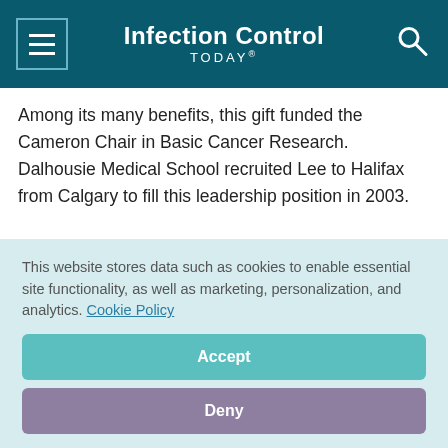Infection Control TODAY
Among its many benefits, this gift funded the Cameron Chair in Basic Cancer Research. Dalhousie Medical School recruited Lee to Halifax from Calgary to fill this leadership position in 2003.
This website stores data such as cookies to enable essential site functionality, as well as marketing, personalization, and analytics. Cookie Policy
Accept
Deny